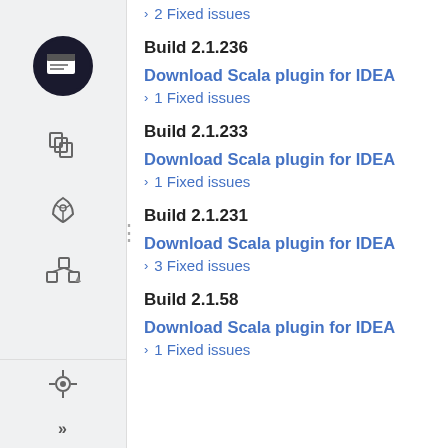> 2 Fixed issues
Build 2.1.236
Download Scala plugin for IDEA
> 1 Fixed issues
Build 2.1.233
Download Scala plugin for IDEA
> 1 Fixed issues
Build 2.1.231
Download Scala plugin for IDEA
> 3 Fixed issues
Build 2.1.58
Download Scala plugin for IDEA
> 1 Fixed issues